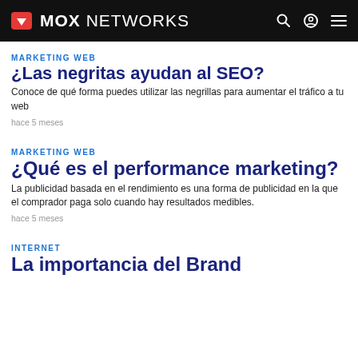MOX NETWORKS
MARKETING WEB
¿Las negritas ayudan al SEO?
Conoce de qué forma puedes utilizar las negrillas para aumentar el tráfico a tu web
hace 5 meses
MARKETING WEB
¿Qué es el performance marketing?
La publicidad basada en el rendimiento es una forma de publicidad en la que el comprador paga solo cuando hay resultados medibles.
hace 5 meses
INTERNET
La importancia del Brand